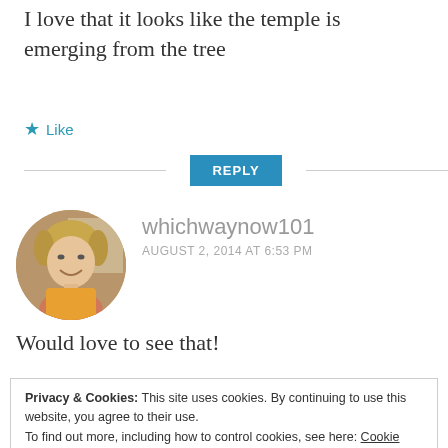I love that it looks like the temple is emerging from the tree
Like
REPLY
[Figure (photo): Circular avatar photo of a woman with short blonde hair, smiling, wearing a yellow top]
whichwaynow101
AUGUST 2, 2014 AT 6:53 PM
Would love to see that!
Privacy & Cookies: This site uses cookies. By continuing to use this website, you agree to their use.
To find out more, including how to control cookies, see here: Cookie Policy
Close and accept